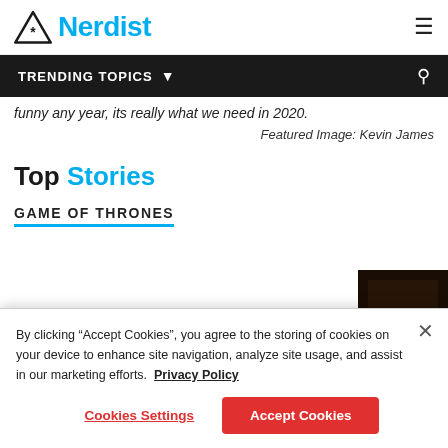Nerdist
TRENDING TOPICS
funny any year, its really what we need in 2020.
Featured Image: Kevin James
Top Stories
GAME OF THRONES
[Figure (photo): Dark thumbnail image related to Game of Thrones article]
By clicking "Accept Cookies", you agree to the storing of cookies on your device to enhance site navigation, analyze site usage, and assist in our marketing efforts. Privacy Policy
Cookies Settings
Accept Cookies